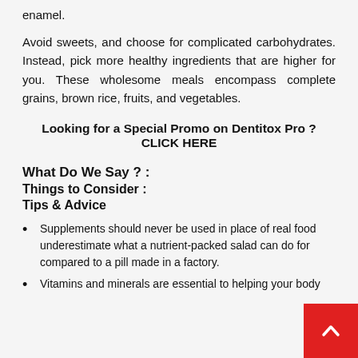enamel.
Avoid sweets, and choose for complicated carbohydrates. Instead, pick more healthy ingredients that are higher for you. These wholesome meals encompass complete grains, brown rice, fruits, and vegetables.
Looking for a Special Promo on Dentitox Pro ? CLICK HERE
What Do We Say ? :
Things to Consider :
Tips & Advice
Supplements should never be used in place of real food underestimate what a nutrient-packed salad can do for compared to a pill made in a factory.
Vitamins and minerals are essential to helping your body...